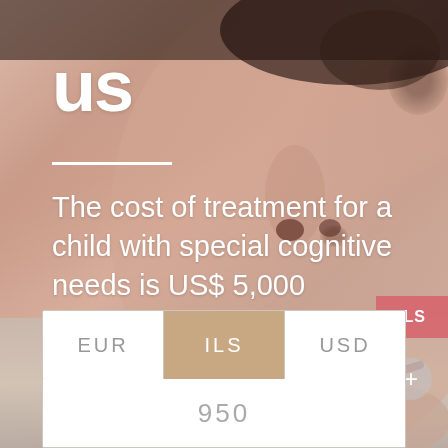[Figure (photo): Close-up photo of a baby's face with soft skin tones, showing nose and lips area, with a blurred background]
us
The cost of treatment for a child with special cognitive needs is US$ 5,000 Help us to change a child's life.
ILS
| EUR | ILS | USD |
| --- | --- | --- |
950